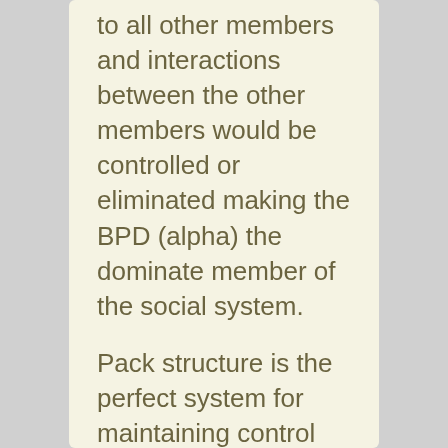to all other members and interactions between the other members would be controlled or eliminated making the BPD (alpha) the dominate member of the social system.

Pack structure is the perfect system for maintaining control and blind obedience and fosters dependency and lack of initiative.  Sounds like my family.  Military